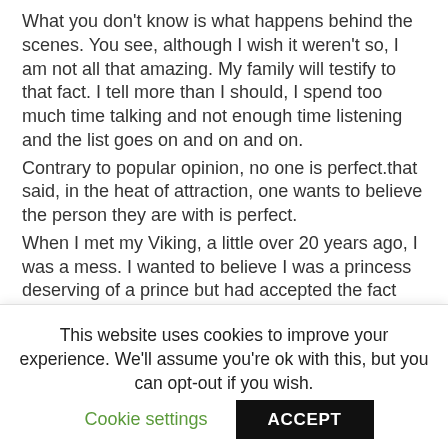What you don't know is what happens behind the scenes. You see, although I wish it weren't so, I am not all that amazing. My family will testify to that fact. I tell more than I should, I spend too much time talking and not enough time listening and the list goes on and on and on.
Contrary to popular opinion, no one is perfect.that said, in the heat of attraction, one wants to believe the person they are with is perfect.
When I met my Viking, a little over 20 years ago, I was a mess. I wanted to believe I was a princess deserving of a prince but had accepted the fact that I was more like a fallen princess who deserves nothing.
I found peace and forgiveness in my Savior, the Lord Jesus Christ and had accepted that I was more than I felt I was and made the choice to trust God more than my own feelings or emotions.
Around this time, a man came into my life who saw the
This website uses cookies to improve your experience. We'll assume you're ok with this, but you can opt-out if you wish.
Cookie settings | ACCEPT